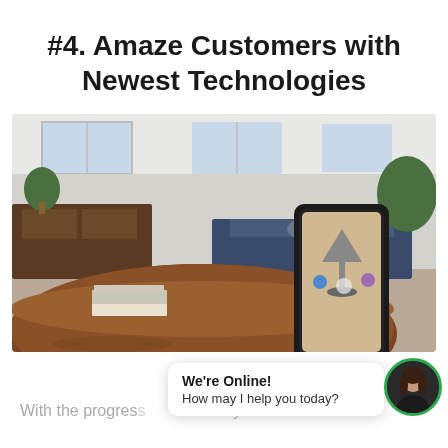#4. Amaze Customers with Newest Technologies
[Figure (photo): A hand holding a smartphone displaying a lamp in augmented reality over a round wooden table in a living room setting. Books rest on the table in the foreground.]
We're Online! How may I help you today?
With the progres... Wayr...